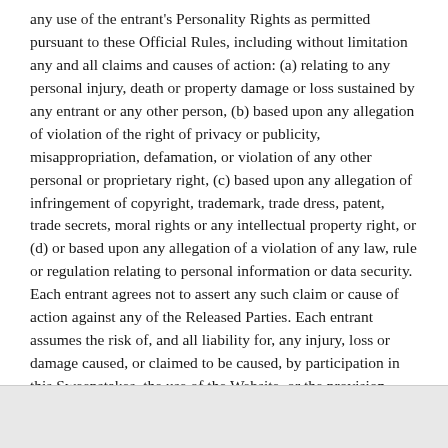any use of the entrant's Personality Rights as permitted pursuant to these Official Rules, including without limitation any and all claims and causes of action: (a) relating to any personal injury, death or property damage or loss sustained by any entrant or any other person, (b) based upon any allegation of violation of the right of privacy or publicity, misappropriation, defamation, or violation of any other personal or proprietary right, (c) based upon any allegation of infringement of copyright, trademark, trade dress, patent, trade secrets, moral rights or any intellectual property right, or (d) or based upon any allegation of a violation of any law, rule or regulation relating to personal information or data security. Each entrant agrees not to assert any such claim or cause of action against any of the Released Parties. Each entrant assumes the risk of, and all liability for, any injury, loss or damage caused, or claimed to be caused, by participation in this Sweepstakes, the use of the Website, or the provision,